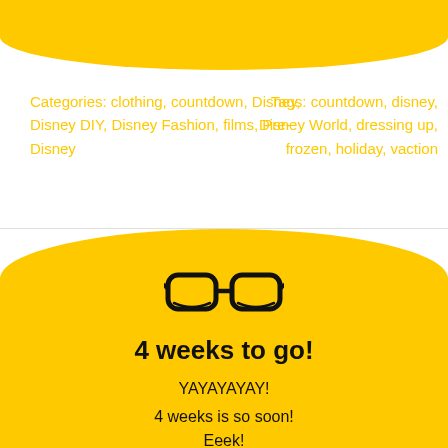Categories: clothing, countdown, Disney, Disney DIY, Disney Fashion, films, Pre-Disney
Tags: countdown, disney, Disney World, dressing up, frozen, holiday, vaction
[Figure (illustration): Black outline drawing of eyeglasses/spectacles on a yellow background]
4 weeks to go!
YAYAYAYAY!
4 weeks is so soon!
Eeek!